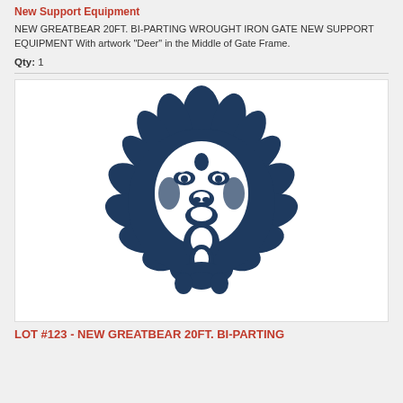New Support Equipment
NEW GREATBEAR 20FT. BI-PARTING WROUGHT IRON GATE NEW SUPPORT EQUIPMENT With artwork "Deer" in the Middle of Gate Frame.
Qty: 1
[Figure (illustration): Dark navy blue silhouette/illustration of a lion's head with detailed mane, facing forward]
LOT #123 - NEW GREATBEAR 20FT. BI-PARTING